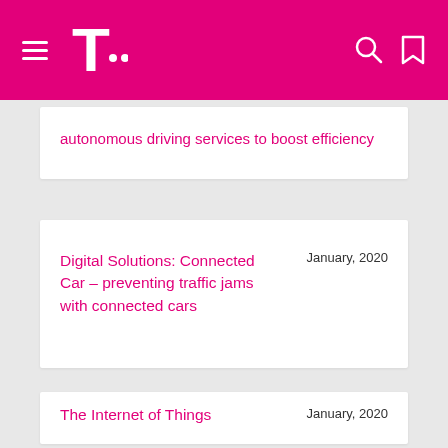T-Mobile / Telekom navigation header
autonomous driving services to boost efficiency
Digital Solutions: Connected Car – preventing traffic jams with connected cars
January, 2020
The Internet of Things
January, 2020